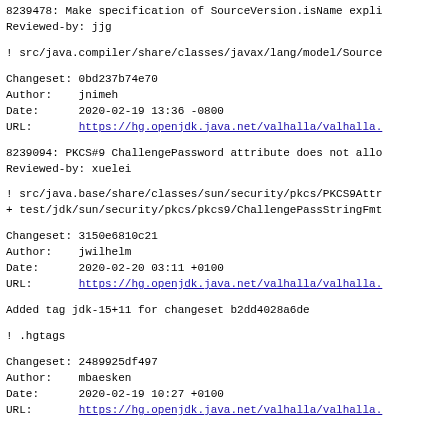8239478: Make specification of SourceVersion.isName expli
Reviewed-by: jjg
! src/java.compiler/share/classes/javax/lang/model/Source
Changeset: 0bd237b74e70
Author:    jnimeh
Date:      2020-02-19 13:36 -0800
URL:       https://hg.openjdk.java.net/valhalla/valhalla.
8239094: PKCS#9 ChallengePassword attribute does not allo
Reviewed-by: xuelei
! src/java.base/share/classes/sun/security/pkcs/PKCS9Attr
+ test/jdk/sun/security/pkcs/pkcs9/ChallengePassStringFmt
Changeset: 3150e6810c21
Author:    jwilhelm
Date:      2020-02-20 03:11 +0100
URL:       https://hg.openjdk.java.net/valhalla/valhalla.
Added tag jdk-15+11 for changeset b2dd4028a6de
! .hgtags
Changeset: 2489925df497
Author:    mbaesken
Date:      2020-02-19 10:27 +0100
URL:       https://hg.openjdk.java.net/valhalla/valhalla.